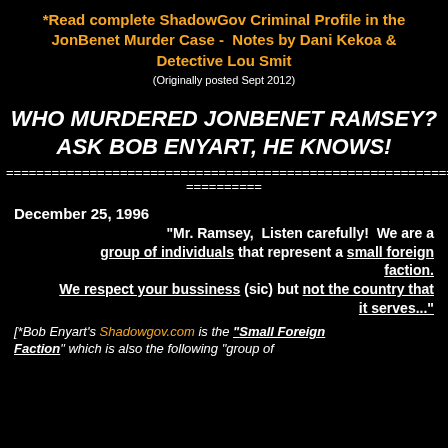*Read complete ShadowGov Criminal Profile in the JonBenet Murder Case - Notes by Dani Kekoa & Detective Lou Smit
(Originally posted Sept 2012)
WHO MURDERED JONBENET RAMSEY? ASK BOB ENYART, HE KNOWS!
==========================================================
==========
December 25, 1996
"Mr. Ramsey, Listen carefully! We are a group of individuals that represent a small foreign faction. We respect your bussiness (sic) but not the country that it serves..."
[*Bob Enyart's Shadowgov.com is the "Small Foreign Faction" which is also the following "group of